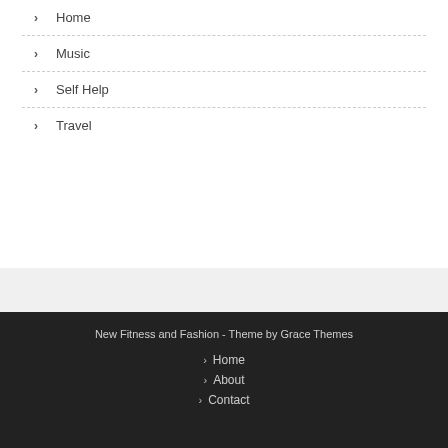Home
Music
Self Help
Travel
New Fitness and Fashion - Theme by Grace Themes
Home
About
Contact